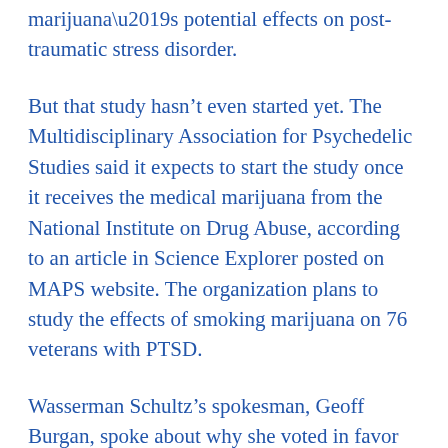marijuana’s potential effects on post-traumatic stress disorder.
But that study hasn’t even started yet. The Multidisciplinary Association for Psychedelic Studies said it expects to start the study once it receives the medical marijuana from the National Institute on Drug Abuse, according to an article in Science Explorer posted on MAPS website. The organization plans to study the effects of smoking marijuana on 76 veterans with PTSD.
Wasserman Schultz’s spokesman, Geoff Burgan, spoke about why she voted in favor of the amendment this year and her position on the 2016 Florida amendment.
“She’d...